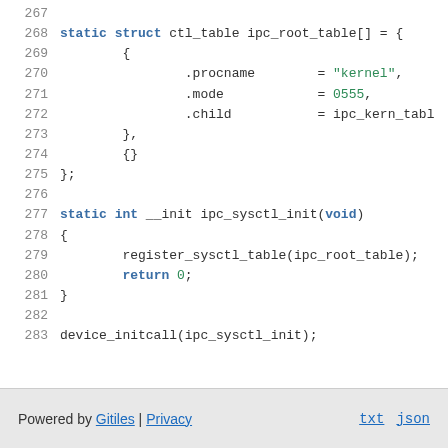[Figure (screenshot): Source code listing lines 267-283 showing C code for ipc_root_table struct and ipc_sysctl_init function]
Powered by Gitiles | Privacy    txt  json